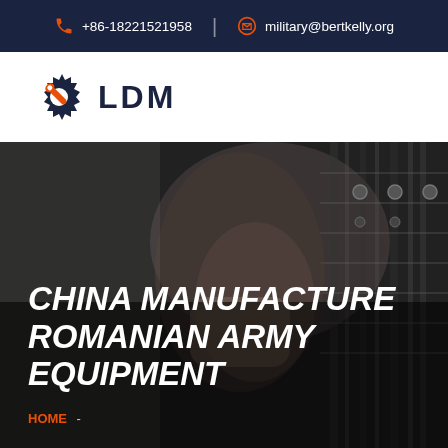+86-18221521958  |  military@bertkelly.org
[Figure (logo): LDM logo: gear with wrench icon in navy and orange, text 'LDM' in bold dark navy]
[Figure (photo): Dark-toned photo of a person's hand pressing or operating industrial/military equipment panel with switches and knobs]
CHINA MANUFACTURE ROMANIAN ARMY EQUIPMENT
HOME  -